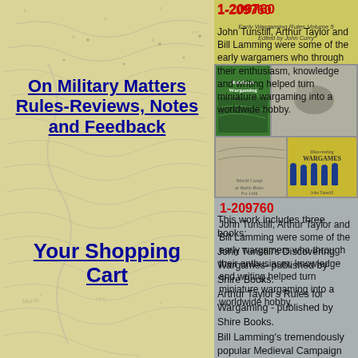[Figure (illustration): Old map background texture for sidebar]
On Military Matters Rules-Reviews, Notes and Feedback
Your Shopping Cart
[Figure (photo): Book cover with yellow background, italic title text 'Early Wargaming Rules Volume 5' and 'Edited by John Curry']
[Figure (photo): Collage of book covers including Rulebook Wargaming, Discovering Wargames, and other wargaming book covers]
1-209760
John Tunstill, Arthur Taylor and Bill Lamming were some of the early wargamers who through their enthusiasm, knowledge and writing helped turn miniature wargaming into a worldwide hobby.
This work includes three books:
John Tunstill's Discovering Wargames- published by Shire Books.
Arthur Taylor's Rules for Wargaming - published by Shire Books.
Bill Lamming's tremendously popular Medieval Campaign and Battle Rules